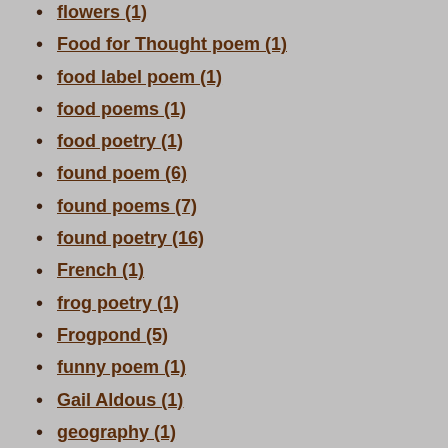flowers (1)
Food for Thought poem (1)
food label poem (1)
food poems (1)
food poetry (1)
found poem (6)
found poems (7)
found poetry (16)
French (1)
frog poetry (1)
Frogpond (5)
funny poem (1)
Gail Aldous (1)
geography (1)
Georgia Heard (1)
Gerard Manley Hopkins (3)